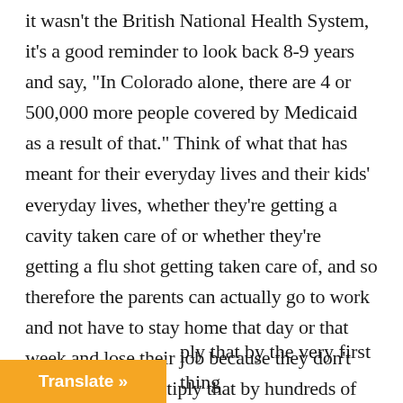it wasn't the British National Health System, it's a good reminder to look back 8-9 years and say, “In Colorado alone, there are 4 or 500,000 more people covered by Medicaid as a result of that.” Think of what that has meant for their everyday lives and their kids’ everyday lives, whether they’re getting a cavity taken care of or whether they’re getting a flu shot getting taken care of, and so therefore the parents can actually go to work and not have to stay home that day or that week and lose their job because they don’t get sick days. Multiply that by hundreds of thousands of
[Figure (other): Orange 'Translate »' button in the bottom-left corner]
ply that by the very first thing